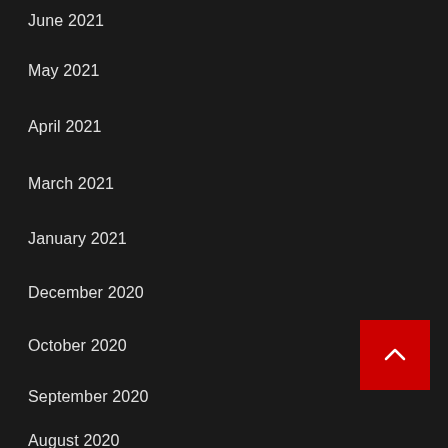June 2021
May 2021
April 2021
March 2021
January 2021
December 2020
October 2020
September 2020
August 2020
[Figure (other): Red square button with white chevron/caret pointing up, positioned bottom-right corner]